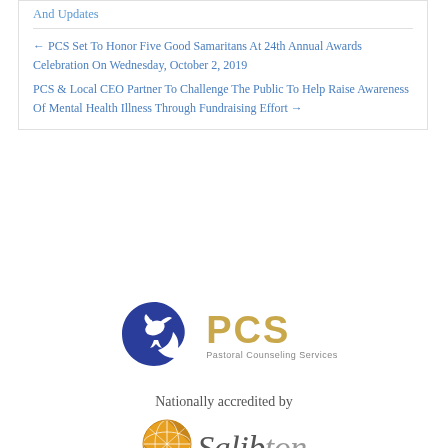And Updates
← PCS Set To Honor Five Good Samaritans At 24th Annual Awards Celebration On Wednesday, October 2, 2019
PCS & Local CEO Partner To Challenge The Public To Help Raise Awareness Of Mental Health Illness Through Fundraising Effort →
[Figure (logo): PCS Pastoral Counseling Services logo — dark blue circular dove emblem with gold 'PCS' text and subtitle 'Pastoral Counseling Services']
Nationally accredited by
[Figure (logo): Solibton/Salib logo — gold segmented circle emblem with dark italic text 'Salib...']